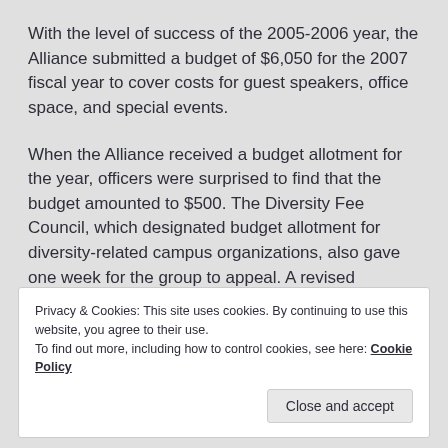With the level of success of the 2005-2006 year, the Alliance submitted a budget of $6,050 for the 2007 fiscal year to cover costs for guest speakers, office space, and special events.
When the Alliance received a budget allotment for the year, officers were surprised to find that the budget amounted to $500. The Diversity Fee Council, which designated budget allotment for diversity-related campus organizations, also gave one week for the group to appeal. A revised budgetary request for $1,800 was subsequently denied.
Privacy & Cookies: This site uses cookies. By continuing to use this website, you agree to their use. To find out more, including how to control cookies, see here: Cookie Policy